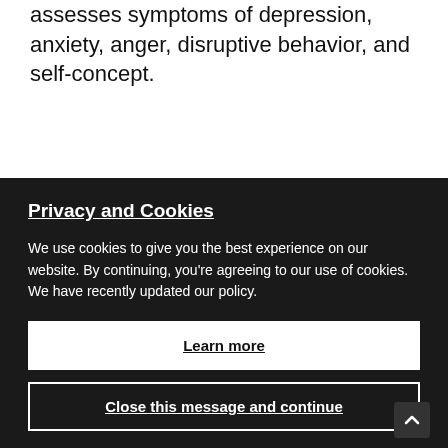assesses symptoms of depression, anxiety, anger, disruptive behavior, and self-concept.
Privacy and Cookies
We use cookies to give you the best experience on our website. By continuing, you're agreeing to our use of cookies. We have recently updated our policy.
Learn more
Close this message and continue